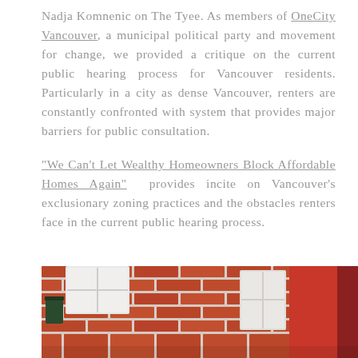Nadja Komnenic on The Tyee. As members of OneCity Vancouver, a municipal political party and movement for change, we provided a critique on the current public hearing process for Vancouver residents. Particularly in a city as dense Vancouver, renters are constantly confronted with system that provides major barriers for public consultation.
"We Can't Let Wealthy Homeowners Block Affordable Homes Again" provides incite on Vancouver's exclusionary zoning practices and the obstacles renters face in the current public hearing process.
[Figure (photo): Photograph of a brick building exterior showing red brick walls, windows with white frames, and a dark green sign or fixture mounted on the brick. A dark red/maroon door or panel is visible on the right edge.]